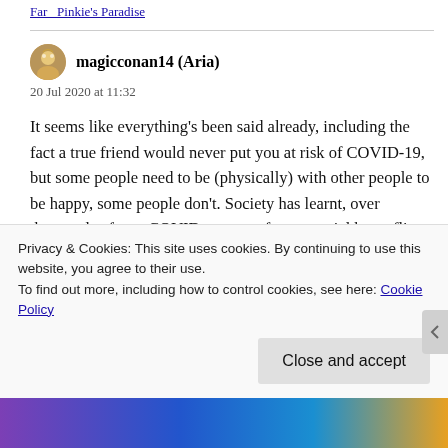Far   Pinkie's Paradise
magicconan14 (Aria)
20 Jul 2020 at 11:32
It seems like everything's been said already, including the fact a true friend would never put you at risk of COVID-19, but some people need to be (physically) with other people to be happy, some people don't. Society has learnt, over thousands of non-COVID years, to favour social butterflies for things which require groups (which is a lot – humans
Privacy & Cookies: This site uses cookies. By continuing to use this website, you agree to their use.
To find out more, including how to control cookies, see here: Cookie Policy
Close and accept